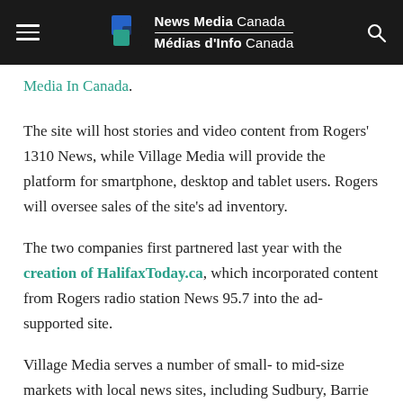News Media Canada / Médias d'Info Canada
Media In Canada.
The site will host stories and video content from Rogers' 1310 News, while Village Media will provide the platform for smartphone, desktop and tablet users. Rogers will oversee sales of the site's ad inventory.
The two companies first partnered last year with the creation of HalifaxToday.ca, which incorporated content from Rogers radio station News 95.7 into the ad-supported site.
Village Media serves a number of small- to mid-size markets with local news sites, including Sudbury, Barrie and Elliot Lake in Ontario.